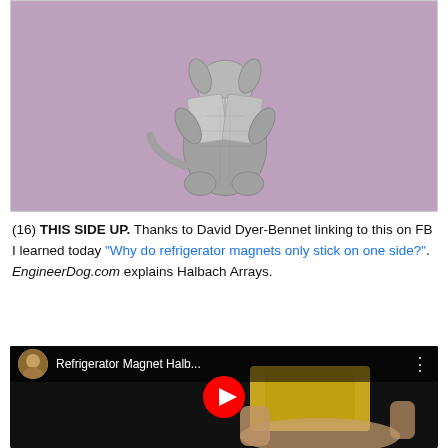[Figure (photo): Silver metallic figurine of a dog or animal sitting and reading a book, on a purple/mauve background]
(16) THIS SIDE UP. Thanks to David Dyer-Bennet linking to this on FB I learned today "Why do refrigerator magnets only stick on one side?". EngineerDog.com explains Halbach Arrays.
[Figure (screenshot): YouTube video thumbnail showing a hand holding a yellow object, with video title 'Refrigerator Magnet Halb...' and a red play button overlay]